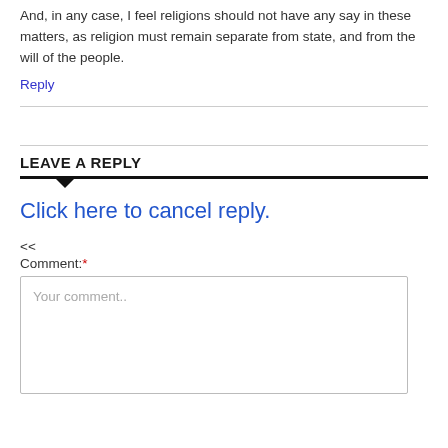And, in any case, I feel religions should not have any say in these matters, as religion must remain separate from state, and from the will of the people.
Reply
LEAVE A REPLY
Click here to cancel reply.
<<
Comment: *
Your comment..